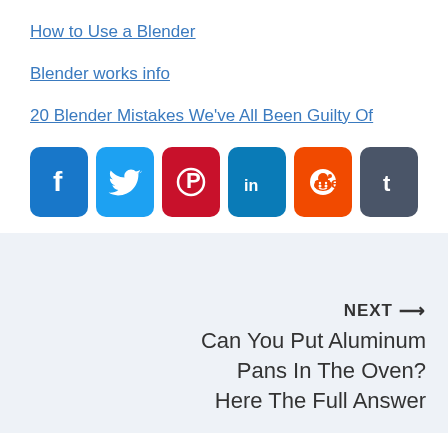How to Use a Blender
Blender works info
20 Blender Mistakes We've All Been Guilty Of
[Figure (infographic): Row of six social media share buttons: Facebook (blue), Twitter (light blue), Pinterest (red), LinkedIn (blue), Reddit (orange), Tumblr (dark gray)]
NEXT → Can You Put Aluminum Pans In The Oven? Here The Full Answer